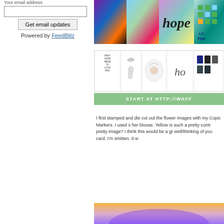Your email address
Get email updates
Powered by FeedBlitz
[Figure (photo): Colorful greeting cards and craft products banner showing multiple card designs with flowers, lettering, and patterns]
[Figure (photo): Waffle Flower stamp and die product lineup showing multiple stamp sets and dies]
START AT HTTP://WAFF
I first stamped and die cut out the flower images with my Copic Markers. I used s her blouse. Yellow is such a pretty contr pretty image? I think this would be a gr well/thinking of you card. I'm smitten. It w
[Figure (photo): Partial view of a craft project with blurred orange and purple colors]